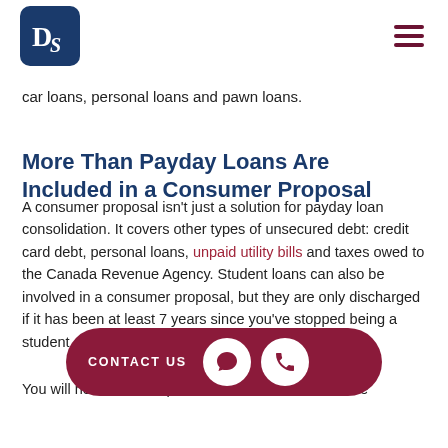DS logo and navigation
car loans, personal loans and pawn loans.
More Than Payday Loans Are Included in a Consumer Proposal
A consumer proposal isn't just a solution for payday loan consolidation. It covers other types of unsecured debt: credit card debt, personal loans, unpaid utility bills and taxes owed to the Canada Revenue Agency. Student loans can also be involved in a consumer proposal, but they are only discharged if it has been at least 7 years since you've stopped being a student — or 5 years if you were still a student when you applied.
[Figure (other): Contact us button bar with chat and phone icons]
You will not be able to pick and choose which of these